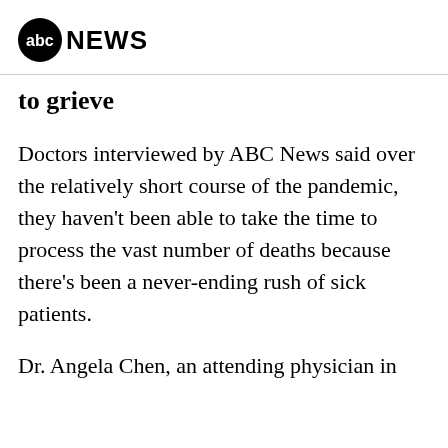abc NEWS
to grieve
Doctors interviewed by ABC News said over the relatively short course of the pandemic, they haven't been able to take the time to process the vast number of deaths because there's been a never-ending rush of sick patients.
Dr. Angela Chen, an attending physician in